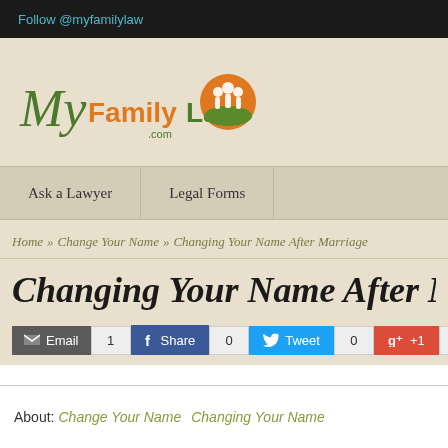Follow @myfamilylaw
[Figure (logo): MyFamilyLaw.com logo with cursive 'My' in green, 'FamilyLaw' in orange/green bold text, and a circular orange/green emblem with people figures, and '.com' below]
Ask a Lawyer   Legal Forms
Home » Change Your Name » Changing Your Name After Marriage
Changing Your Name After Marriage
Email 1  Share 0  Tweet 0  +1 0
About: Change Your Name   Changing Your Name